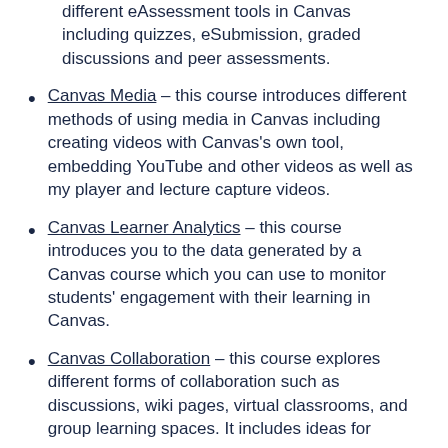different eAssessment tools in Canvas including quizzes, eSubmission, graded discussions and peer assessments.
Canvas Media – this course introduces different methods of using media in Canvas including creating videos with Canvas's own tool, embedding YouTube and other videos as well as my player and lecture capture videos.
Canvas Learner Analytics – this course introduces you to the data generated by a Canvas course which you can use to monitor students' engagement with their learning in Canvas.
Canvas Collaboration – this course explores different forms of collaboration such as discussions, wiki pages, virtual classrooms, and group learning spaces. It includes ideas for